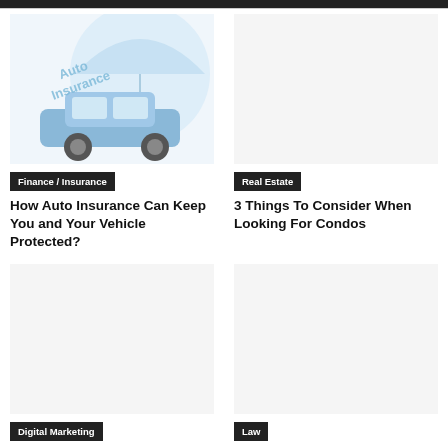[Figure (illustration): Auto insurance illustration showing a blue car with an umbrella and 'Auto Insurance' text watermark]
Finance / Insurance
How Auto Insurance Can Keep You and Your Vehicle Protected?
[Figure (photo): Real Estate article thumbnail - blank/white]
Real Estate
3 Things To Consider When Looking For Condos
[Figure (photo): Digital Marketing article thumbnail - blank/white]
Digital Marketing
Various Digital Forms of Marketing That you Could Use to Promote...
[Figure (photo): Law article thumbnail - blank/white]
Law
4 Things You Must Know if Convicted for First-time DUI in...